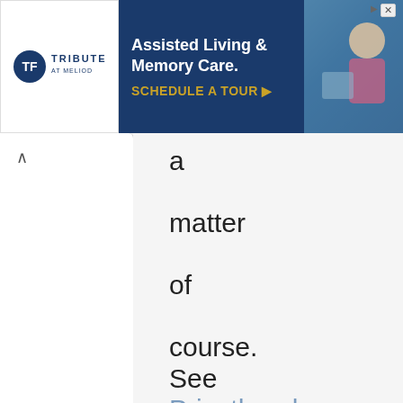[Figure (other): Advertisement banner for Tribute at Meliod — Assisted Living & Memory Care with 'Schedule a Tour' call to action]
a matter of course. See Priesthood (Latter-day Saint). The Church does not